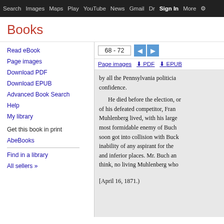Search  Images  Maps  Play  YouTube  News  Gmail  Dr  Sign In  More  ⚙
Books
Read eBook
Page images
Download PDF
Download EPUB
Advanced Book Search
Help
My library
Get this book in print
AbeBooks
Find in a library
All sellers »
68 - 72
Page images  ⬇ PDF  ⬇ EPUB
by all the Pennsylvania politician confidence.

He died before the election, or of his defeated competitor, Franc Muhlenberg lived, with his large most formidable enemy of Bucha soon got into collision with Buck inability of any aspirant for the P and inferior places. Mr. Buch an think, no living Muhlenberg who

[April 16, 1871.)